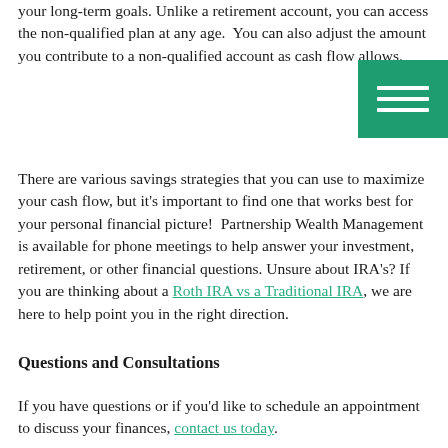your long-term goals. Unlike a retirement account, you can access the non-qualified plan at any age.  You can also adjust the amount you contribute to a non-qualified account as cash flow allows.
[Figure (other): Green square hamburger menu icon with three white horizontal lines]
There are various savings strategies that you can use to maximize your cash flow, but it's important to find one that works best for your personal financial picture!  Partnership Wealth Management is available for phone meetings to help answer your investment, retirement, or other financial questions. Unsure about IRA's? If you are thinking about a Roth IRA vs a Traditional IRA, we are here to help point you in the right direction.
Questions and Consultations
If you have questions or if you'd like to schedule an appointment to discuss your finances, contact us today.